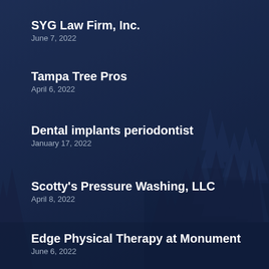SYG Law Firm, Inc.
June 7, 2022
Tampa Tree Pros
April 6, 2022
Dental implants periodontist
January 17, 2022
Scotty's Pressure Washing, LLC
April 8, 2022
Edge Physical Therapy at Monument
June 6, 2022